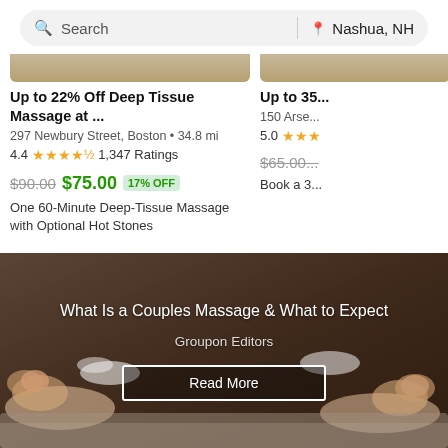[Figure (screenshot): Search bar with search icon and 'Search' text, divider, location pin icon and 'Nashua, NH' text]
Up to 22% Off Deep Tissue Massage at ...
297 Newbury Street, Boston • 34.8 mi
4.4 ★★★★½ 1,347 Ratings
$90.00 $75.00 17% OFF
One 60-Minute Deep-Tissue Massage with Optional Hot Stones
Up to 35...
150 Arse...
5.0 ★★★
$65.00...
Book a 3...
[Figure (photo): Couples massage banner image showing two people receiving massages, dark warm tones]
What Is a Couples Massage & What to Expect
Groupon Editors
Read More